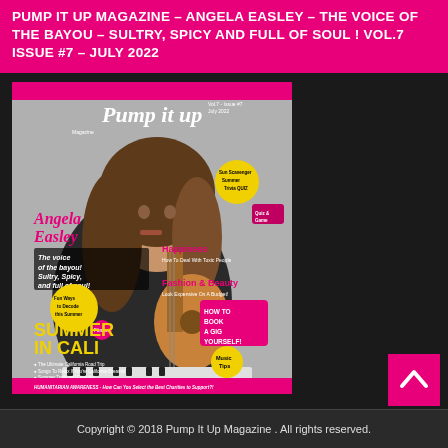PUMP IT UP MAGAZINE – ANGELA EASLEY – THE VOICE OF THE BAYOU – SULTRY, SPICY AND FULL OF SOUL ! VOL.7 ISSUE #7 – JULY 2022
[Figure (photo): Magazine cover of Pump It Up Magazine featuring Angela Easley, a woman with long brown hair wearing a black leather jacket, holding a guitar and posing near a keyboard. Cover text includes 'The voice of the bayou! Sultry, Spicy, and full of soul!', 'SUMMER IN CALI', 'HOW TO BOOK A GIG YOURSELF', 'Music Tips', 'HUMANITARIAN AWARENESS', and various other headlines.]
Copyright © 2018 Pump It Up Magazine . All rights reserved.